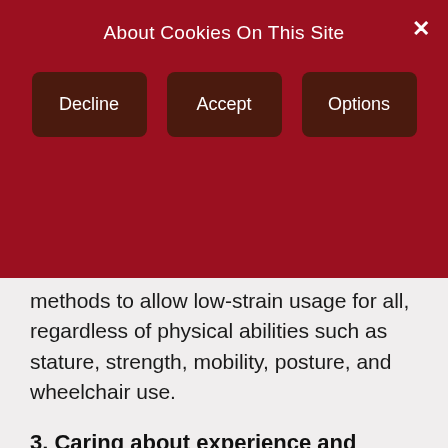About Cookies On This Site
Decline
Accept
Options
methods to allow low-strain usage for all, regardless of physical abilities such as stature, strength, mobility, posture, and wheelchair use.
3. Caring about experience and culture
We present information using expressions that can be clearly understood by users of diverse personal experiences and cultural backgrounds.
4. Ensuring availability
We consider time and place, weather, the